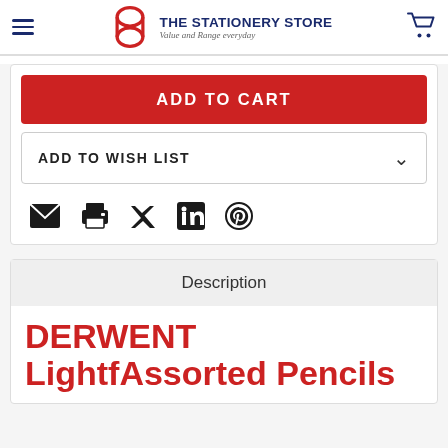THE STATIONERY STORE — Value and Range everyday
ADD TO CART
ADD TO WISH LIST
[Figure (infographic): Social sharing icons: email, print, Twitter, LinkedIn, Pinterest]
Description
DERWENT LightfAssorted Pencils